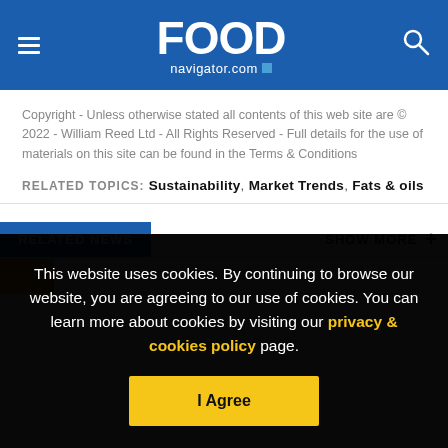FOOD navigator.com
Copyright - Unless otherwise stated all contents of this web site are © 2022 - William Reed Ltd - All Rights Reserved - Full details for the use of materials on this site can be found in the Terms & Conditions
RELATED TOPICS: Sustainability, Market Trends, Fats & oils
RELATED NEWS   SHOW MORE +
This website uses cookies. By continuing to browse our website, you are agreeing to our use of cookies. You can learn more about cookies by visiting our privacy & cookies policy page.